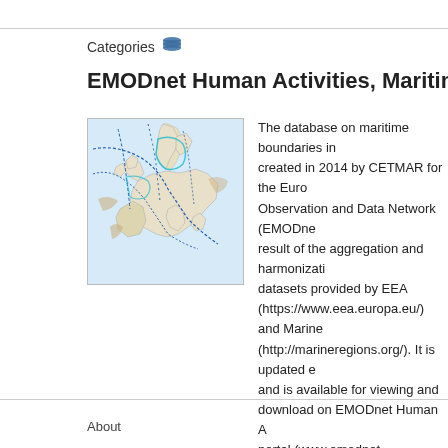Categories
EMODnet Human Activities, Maritime Boundaries
[Figure (map): Map of Europe showing maritime boundaries with blue boundary lines and coastal shading]
The database on maritime boundaries in European waters was created in 2014 by CETMAR for the European Marine Observation and Data Network (EMODnet). It is the result of the aggregation and harmonization of national datasets provided by EEA (https://www.eea.europa.eu/) and Marine Regions (http://marineregions.org/). It is updated every year and is available for viewing and download on EMODnet Human Activities portal (www.emodnet-humanactivities.eu). The database contains polygons representing maritime boundaries (territorial waters, bi- or multi-lateral boundaries (e.g. in the North Sea) as well as contiguous and exclusive economic zones) in the following countries: Belgium, Bulgaria, Croatia, Cyprus, Denmark, Estonia, Finland, France, Germany, Greece, Ireland
About